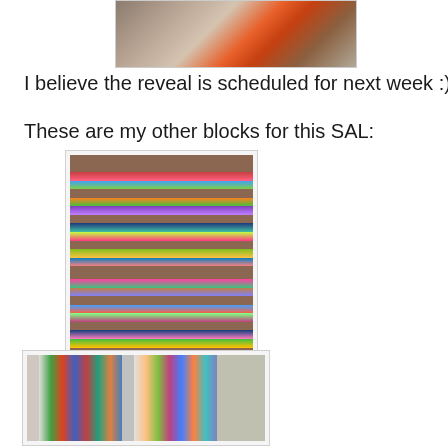[Figure (photo): Partial photo of quilt or craft supplies at the top of the page]
I believe the reveal is scheduled for next week :)
These are my other blocks for this SAL:
[Figure (photo): Photo of colorful quilt blocks arranged in a column on a wooden surface, showing various patterned blocks with bright colors]
[Figure (photo): Photo of colorful quilt blocks with triangle patterns in various colors arranged in columns, leaning against a wooden surface]